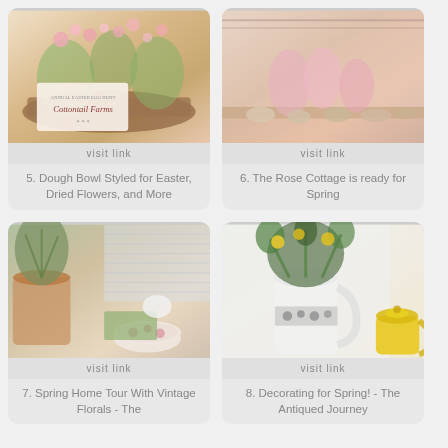[Figure (photo): Dough bowl styled with flowers including a Cottontail Farms Easter sign with pink blossoms]
visit link
5. Dough Bowl Styled for Easter, Dried Flowers, and More
[Figure (photo): Rose Cottage spring display with floral arrangements and decorative items on a shelf]
visit link
6. The Rose Cottage is ready for Spring
[Figure (photo): Spring home tour with vintage florals including herbs in pots, vintage china bowl and spring table setting]
visit link
7. Spring Home Tour With Vintage Florals - The
[Figure (photo): White decorative pitcher/vase with green plants and yellow ball flowers against white wall with yellow teapot]
visit link
8. Decorating for Spring! - The Antiqued Journey